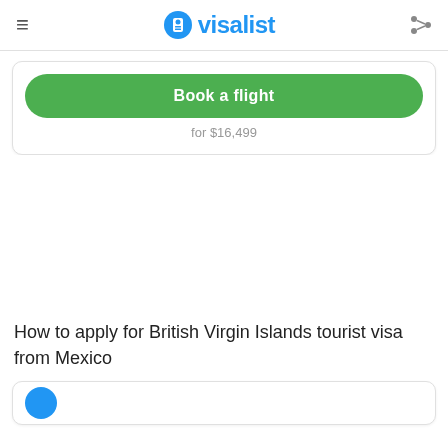visalist
Book a flight
for $16,499
How to apply for British Virgin Islands tourist visa from Mexico